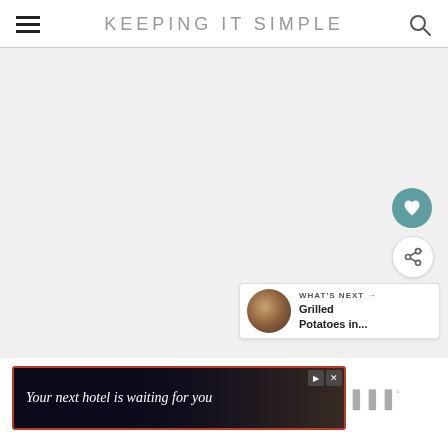KEEPING IT SIMPLE
[Figure (screenshot): Gray blank main content area of a website]
[Figure (infographic): Floating action buttons: heart (favorite) and share icons on the right side]
[Figure (infographic): What's Next preview card: circular food thumbnail, label WHAT'S NEXT with arrow, title Grilled Potatoes in...]
[Figure (infographic): Banner ad with dark background showing a hotel image, text: Your next hotel is waiting for you, with close and skip controls, and a logo on the right]